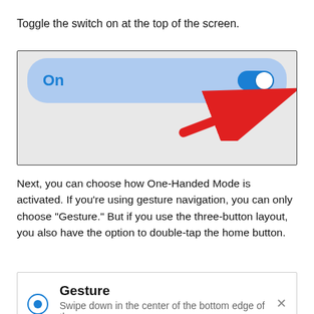Toggle the switch on at the top of the screen.
[Figure (screenshot): Android settings screenshot showing a toggle switch turned On with a red arrow pointing to the toggle, in a blue highlighted row.]
Next, you can choose how One-Handed Mode is activated. If you’re using gesture navigation, you can only choose “Gesture.” But if you use the three-button layout, you also have the option to double-tap the home button.
[Figure (screenshot): Android settings screenshot showing Gesture option selected with a radio button, and subtext: Swipe down in the center of the bottom edge of the]